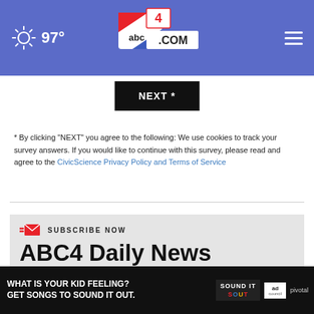97° abc4.com
[Figure (screenshot): NEXT * button, dark/black background with white bold text]
* By clicking "NEXT" you agree to the following: We use cookies to track your survey answers. If you would like to continue with this survey, please read and agree to the CivicScience Privacy Policy and Terms of Service
SUBSCRIBE NOW
ABC4 Daily News
Your email
[Figure (screenshot): Ad banner: WHAT IS YOUR KID FEELING? GET SONGS TO SOUND IT OUT. SOUND IT OUT. ad council pivotal]